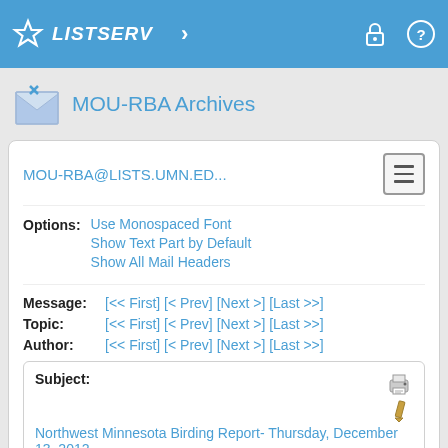LISTSERV
MOU-RBA Archives
MOU-RBA@LISTS.UMN.ED...
Options: Use Monospaced Font | Show Text Part by Default | Show All Mail Headers
Message: [<< First] [< Prev] [Next >] [Last >>]
Topic: [<< First] [< Prev] [Next >] [Last >>]
Author: [<< First] [< Prev] [Next >] [Last >>]
Subject: Northwest Minnesota Birding Report- Thursday, December 13, 2012
From: Jeanie Joppru <[log in to unmask]>
Reply To: